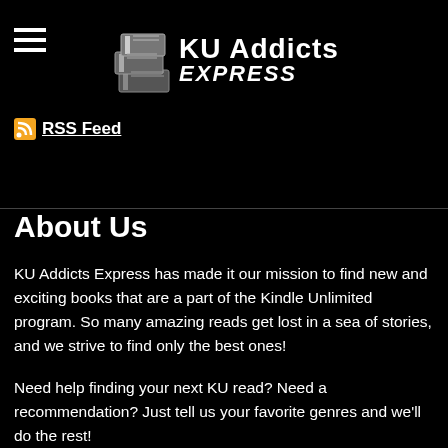KU Addicts Express
RSS Feed
About Us
KU Addicts Express has made it our mission to find new and exciting books that are a part of the Kindle Unlimited program. So many amazing reads get lost in a sea of stories, and we strive to find only the best ones!
Need help finding your next KU read? Need a recommendation? Just tell us your favorite genres and we'll do the rest!